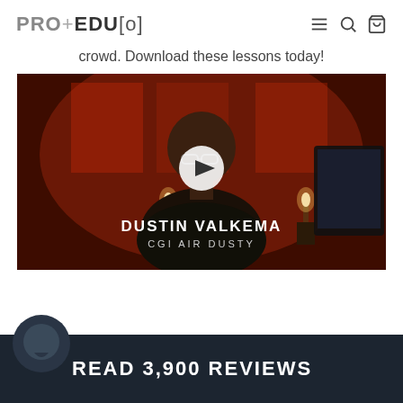PRO+EDU[o]
crowd. Download these lessons today!
[Figure (screenshot): Video thumbnail showing Dustin Valkema (CGI Air Dusty) seated in front of a red-lit background with a white play button overlay. Text at bottom reads DUSTIN VALKEMA / CGI AIR DUSTY.]
READ 3,900 REVIEWS